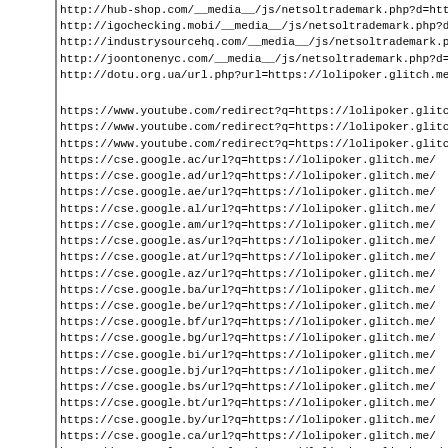http://hub-shop.com/__media__/js/netsoltrademark.php?d=http
http://igochecking.mobi/__media__/js/netsoltrademark.php?d=
http://industrysourcehq.com/__media__/js/netsoltrademark.ph
http://joontonenyc.com/__media__/js/netsoltrademark.php?d=h
http://dotu.org.ua/url.php?url=https://lolipoker.glitch.me/
https://www.youtube.com/redirect?q=https://lolipoker.glitch
https://www.youtube.com/redirect?q=https://lolipoker.glitch
https://www.youtube.com/redirect?q=https://lolipoker.glitch
https://cse.google.ac/url?q=https://lolipoker.glitch.me/
https://cse.google.ad/url?q=https://lolipoker.glitch.me/
https://cse.google.ae/url?q=https://lolipoker.glitch.me/
https://cse.google.al/url?q=https://lolipoker.glitch.me/
https://cse.google.am/url?q=https://lolipoker.glitch.me/
https://cse.google.as/url?q=https://lolipoker.glitch.me/
https://cse.google.at/url?q=https://lolipoker.glitch.me/
https://cse.google.az/url?q=https://lolipoker.glitch.me/
https://cse.google.ba/url?q=https://lolipoker.glitch.me/
https://cse.google.be/url?q=https://lolipoker.glitch.me/
https://cse.google.bf/url?q=https://lolipoker.glitch.me/
https://cse.google.bg/url?q=https://lolipoker.glitch.me/
https://cse.google.bi/url?q=https://lolipoker.glitch.me/
https://cse.google.bj/url?q=https://lolipoker.glitch.me/
https://cse.google.bs/url?q=https://lolipoker.glitch.me/
https://cse.google.bt/url?q=https://lolipoker.glitch.me/
https://cse.google.by/url?q=https://lolipoker.glitch.me/
https://cse.google.ca/url?q=https://lolipoker.glitch.me/
https://cse.google.cat/url?q=https://lolipoker.glitch.me/
https://cse.google.cc/url?q=https://lolipoker.glitch.me/
https://cse.google.cd/url?q=https://lolipoker.glitch.me/